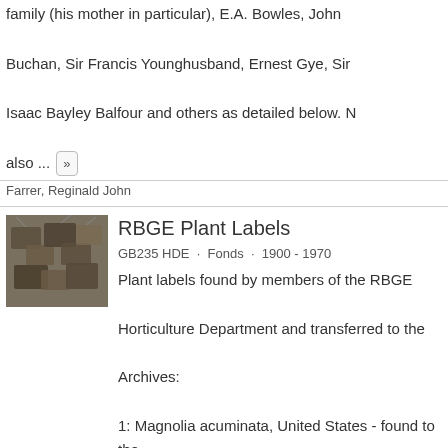family (his mother in particular), E.A. Bowles, John Buchan, Sir Francis Younghusband, Ernest Gye, Sir Isaac Bayley Balfour and others as detailed below. also ...
Farrer, Reginald John
[Figure (photo): Photograph of RBGE plant labels — flat stone/metal tags with strings attached, arranged on a surface]
RBGE Plant Labels
GB235 HDE · Fonds · 1900 - 1970
Plant labels found by members of the RBGE Horticulture Department and transferred to the Archives: 1: Magnolia acuminata, United States - found to the east of the copse, RBGE; a label intended to hang from the tree, this type of label had the impressed ...